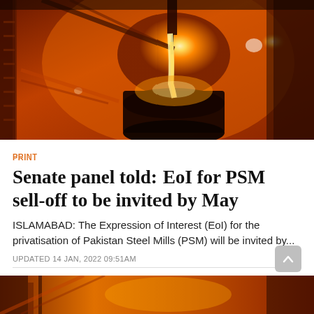[Figure (photo): Industrial steel furnace with bright orange molten metal being poured, surrounded by steel mill infrastructure]
PRINT
Senate panel told: EoI for PSM sell-off to be invited by May
ISLAMABAD: The Expression of Interest (EoI) for the privatisation of Pakistan Steel Mills (PSM) will be invited by...
UPDATED 14 JAN, 2022 09:51AM
[Figure (photo): Partial view of steel mill industrial equipment with orange/golden tones, bottom strip]